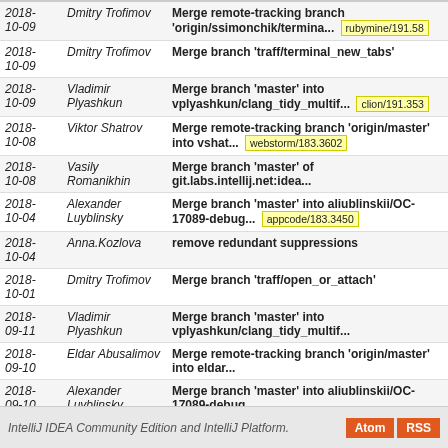| Date | Author | Commit Message |
| --- | --- | --- |
| 2018-10-09 | Dmitry Trofimov | Merge remote-tracking branch 'origin/ssimonchik/termina... [rubymine/191.58] |
| 2018-10-09 | Dmitry Trofimov | Merge branch 'traff/terminal_new_tabs' |
| 2018-10-09 | Vladimir Plyashkun | Merge branch 'master' into vplyashkun/clang_tidy_multif... [clion/191.353] |
| 2018-10-08 | Viktor Shatrov | Merge remote-tracking branch 'origin/master' into vshat... [webstorm/183.3602] |
| 2018-10-08 | Vasily Romanikhin | Merge branch 'master' of git.labs.intellij.net:idea... |
| 2018-10-04 | Alexander Luyblinsky | Merge branch 'master' into aliublinskii/OC-17089-debug... [appcode/183.3450] |
| 2018-10-04 | Anna.Kozlova | remove redundant suppressions |
| 2018-10-01 | Dmitry Trofimov | Merge branch 'traff/open_or_attach' |
| 2018-09-11 | Vladimir Plyashkun | Merge branch 'master' into vplyashkun/clang_tidy_multif... |
| 2018-09-10 | Eldar Abusalimov | Merge remote-tracking branch 'origin/master' into eldar... |
| 2018-09-10 | Alexander Luyblinsky | Merge branch 'master' into aliublinskii/OC-17089-debug... |
next
IntelliJ IDEA Community Edition and IntelliJ Platform.